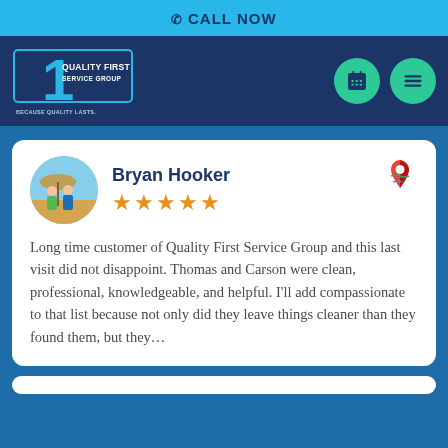CALL NOW
[Figure (logo): Quality First Service Group logo — large blue '1' with 'QUALITY FIRST SERVICE GROUP' text and 'Because Quality Lasts.' tagline on dark navy background]
Bryan Hooker ★★★★★ Long time customer of Quality First Service Group and this last visit did not disappoint. Thomas and Carson were clean, professional, knowledgeable, and helpful. I'll add compassionate to that list because not only did they leave things cleaner than they found them, but they...